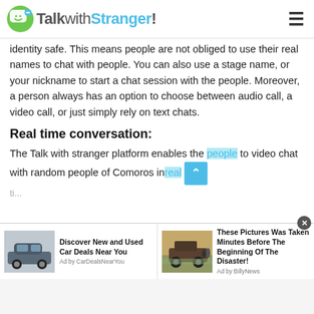TalkwithStranger!
identity safe. This means people are not obliged to use their real names to chat with people. You can also use a stage name, or your nickname to start a chat session with the people. Moreover, a person always has an option to choose between audio call, a video call, or just simply rely on text chats.
Real time conversation:
The Talk with stranger platform enables the people to video chat with random people of Comoros in real ti...
[Figure (screenshot): Advertisement bar with two ads: 'Discover New and Used Car Deals Near You - Ad by CarDealsNearYou' with car image, and 'These Pictures Was Taken Minutes Before The Beginning Of The Disaster! - Ad by BillyNews' with truck/flood image. A close button is visible.]